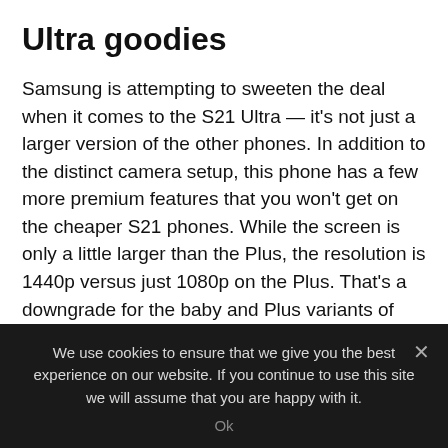Ultra goodies
Samsung is attempting to sweeten the deal when it comes to the S21 Ultra — it's not just a larger version of the other phones. In addition to the distinct camera setup, this phone has a few more premium features that you won't get on the cheaper S21 phones. While the screen is only a little larger than the Plus, the resolution is 1440p versus just 1080p on the Plus. That's a downgrade for the baby and Plus variants of Samsung's new flagships. The S21 Ultra also has a dynamic refresh that can operate anywhere between
We use cookies to ensure that we give you the best experience on our website. If you continue to use this site we will assume that you are happy with it.
Ok